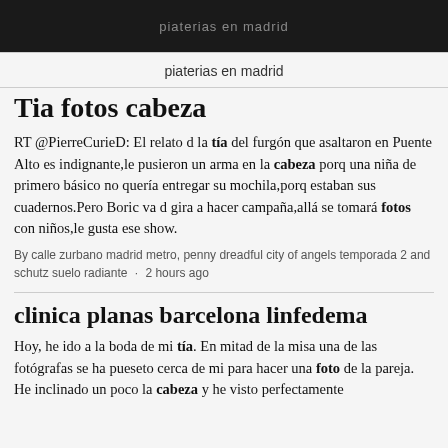piaterias en madrid
piaterias en madrid
Tia fotos cabeza
RT @PierreCurieD: El relato d la tía del furgón que asaltaron en Puente Alto es indignante,le pusieron un arma en la cabeza porq una niña de primero básico no quería entregar su mochila,porq estaban sus cuadernos.Pero Boric va d gira a hacer campaña,allá se tomará fotos con niños,le gusta ese show.
By calle zurbano madrid metro, penny dreadful city of angels temporada 2 and schutz suelo radiante · 2 hours ago
clinica planas barcelona linfedema
Hoy, he ido a la boda de mi tía. En mitad de la misa una de las fotógrafas se ha pueseto cerca de mi para hacer una foto de la pareja. He inclinado un poco la cabeza y he visto perfectamente